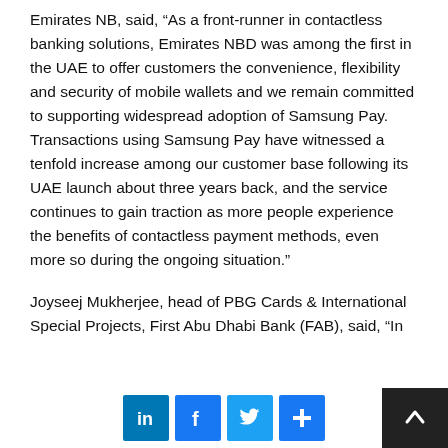Emirates NB, said, “As a front-runner in contactless banking solutions, Emirates NBD was among the first in the UAE to offer customers the convenience, flexibility and security of mobile wallets and we remain committed to supporting widespread adoption of Samsung Pay. Transactions using Samsung Pay have witnessed a tenfold increase among our customer base following its UAE launch about three years back, and the service continues to gain traction as more people experience the benefits of contactless payment methods, even more so during the ongoing situation.”
Joyseej Mukherjee, head of PBG Cards & International Special Projects, First Abu Dhabi Bank (FAB), said, “In
[Figure (other): Social sharing icons: LinkedIn, Facebook, Twitter, and a share/plus button, plus a back-to-top arrow button]